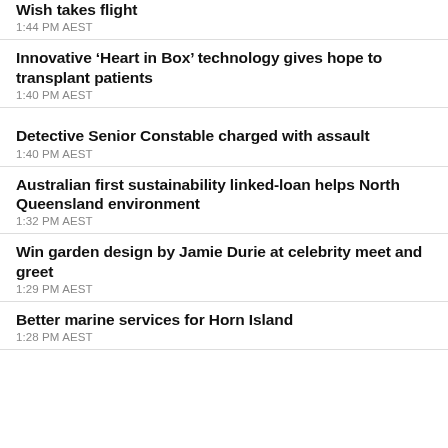Wish takes flight
1:44 PM AEST
Innovative ‘Heart in Box’ technology gives hope to transplant patients
1:40 PM AEST
Detective Senior Constable charged with assault
1:40 PM AEST
Australian first sustainability linked-loan helps North Queensland environment
1:32 PM AEST
Win garden design by Jamie Durie at celebrity meet and greet
1:29 PM AEST
Better marine services for Horn Island
1:28 PM AEST